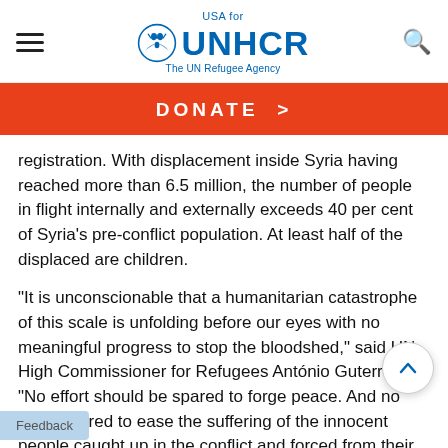USA for UNHCR The UN Refugee Agency
DONATE >
registration. With displacement inside Syria having reached more than 6.5 million, the number of people in flight internally and externally exceeds 40 per cent of Syria's pre-conflict population. At least half of the displaced are children.
"It is unconscionable that a humanitarian catastrophe of this scale is unfolding before our eyes with no meaningful progress to stop the bloodshed," said UN High Commissioner for Refugees António Guterres. "No effort should be spared to forge peace. And no effort spared to ease the suffering of the innocent people caught up in the conflict and forced from their homes, jobs and schools."